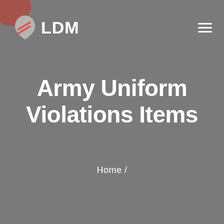LDM
Army Uniform Violations Items
Home /